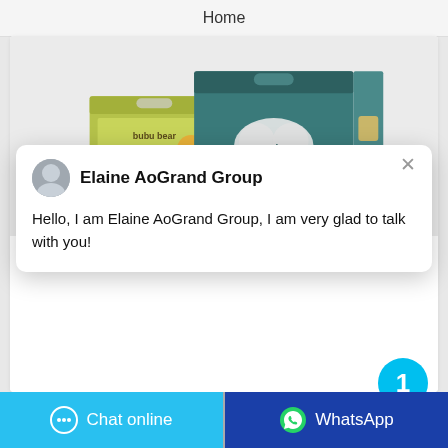Home
[Figure (photo): Product display showing baby diaper packages: 'bubu bear BABY DRY DIAPERS' (olive/green box) and 'Mamoloves' (teal/dark green box)]
Elaine AoGrand Group
Hello, I am Elaine AoGrand Group, I am very glad to talk with you!
Little Angel Diaper
Chat online
WhatsApp